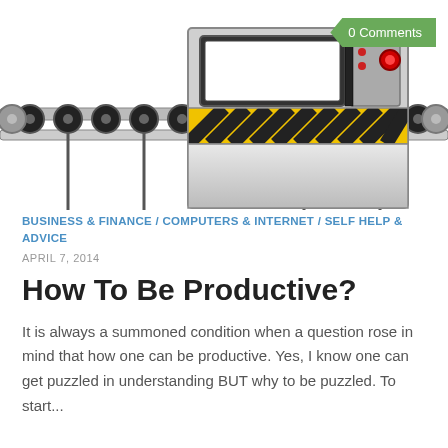[Figure (illustration): A conveyor belt machine illustration with a central control unit showing a screen, yellow/black hazard stripes, a red button, and multiple rollers along the belt extending left and right.]
BUSINESS & FINANCE / COMPUTERS & INTERNET / SELF HELP & ADVICE
APRIL 7, 2014
How To Be Productive?
It is always a summoned condition when a question rose in mind that how one can be productive. Yes, I know one can get puzzled in understanding BUT why to be puzzled. To start...